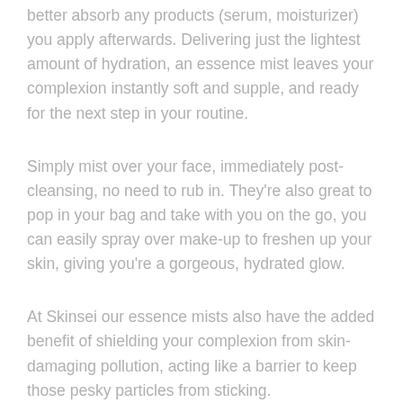better absorb any products (serum, moisturizer) you apply afterwards. Delivering just the lightest amount of hydration, an essence mist leaves your complexion instantly soft and supple, and ready for the next step in your routine.
Simply mist over your face, immediately post-cleansing, no need to rub in. They're also great to pop in your bag and take with you on the go, you can easily spray over make-up to freshen up your skin, giving you're a gorgeous, hydrated glow.
At Skinsei our essence mists also have the added benefit of shielding your complexion from skin-damaging pollution, acting like a barrier to keep those pesky particles from sticking.